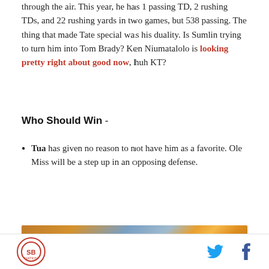through the air. This year, he has 1 passing TD, 2 rushing TDs, and 22 rushing yards in two games, but 538 passing. The thing that made Tate special was his duality. Is Sumlin trying to turn him into Tom Brady? Ken Niumatalolo is looking pretty right about good now, huh KT?
Who Should Win -
Tua has given no reason to not have him as a favorite. Ole Miss will be a step up in an opposing defense.
[Figure (photo): Sports photo with orange and blue tones, showing a football helmet or player with Tennessee orange T logo visible]
SB Nation logo | Twitter icon | Facebook icon